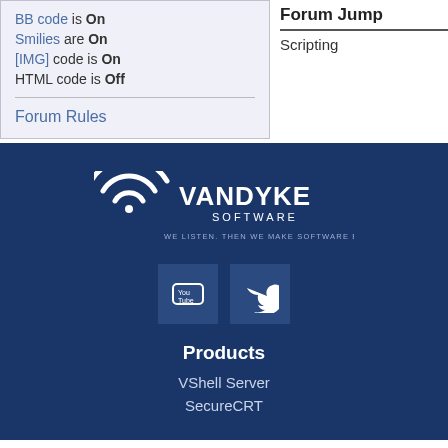BB code is On
Smilies are On
[IMG] code is On
HTML code is Off
Forum Rules
Forum Jump
Scripting
[Figure (logo): VanDyke Software logo with WiFi arc icon and tagline: WE LISTEN. THEN WE MAKE SOFTWARE BETTER.]
[Figure (other): YouTube and Twitter social media icon buttons]
Products
VShell Server
SecureCRT